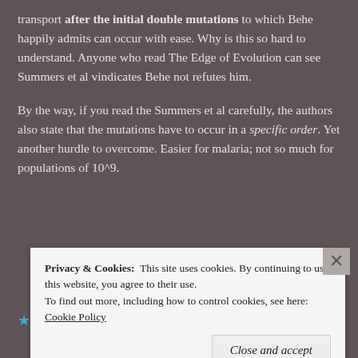transport after the initial double mutations to which Behe happily admits can occur with ease. Why is this so hard to understand. Anyone who read The Edge of Evolution can see Summers et al vindicates Behe not refutes him.
By the way, if you read the Summers et al carefully, the authors also state that the mutations have to occur in a specific order. Yet another hurdle to overcome. Easier for malaria; not so much for populations of 10^9.
Like
Privacy & Cookies: This site uses cookies. By continuing to use this website, you agree to their use. To find out more, including how to control cookies, see here: Cookie Policy